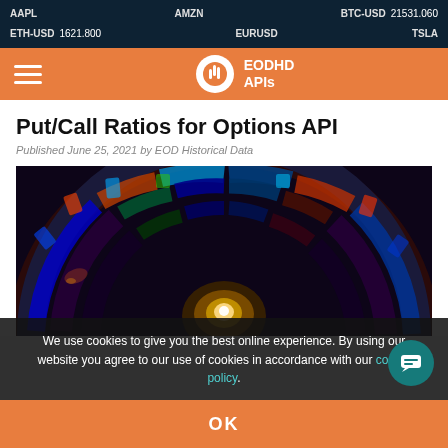AAPL   AMZN   BTC-USD 21531.060   ETH-USD 1621.800   EURUSD   TSLA
[Figure (logo): EODHD APIs logo with navigation bar on orange background]
Put/Call Ratios for Options API
Published June 25, 2021 by EOD Historical Data
[Figure (photo): Spiral stained glass window photograph with colorful blue, red, green panels in concentric arches, dark background]
We use cookies to give you the best online experience. By using our website you agree to our use of cookies in accordance with our cookie policy.
OK